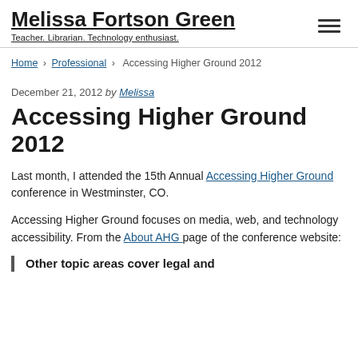Melissa Fortson Green — Teacher. Librarian. Technology enthusiast.
Home > Professional > Accessing Higher Ground 2012
December 21, 2012 by Melissa
Accessing Higher Ground 2012
Last month, I attended the 15th Annual Accessing Higher Ground conference in Westminster, CO.
Accessing Higher Ground focuses on media, web, and technology accessibility. From the About AHG page of the conference website:
Other topic areas cover legal and